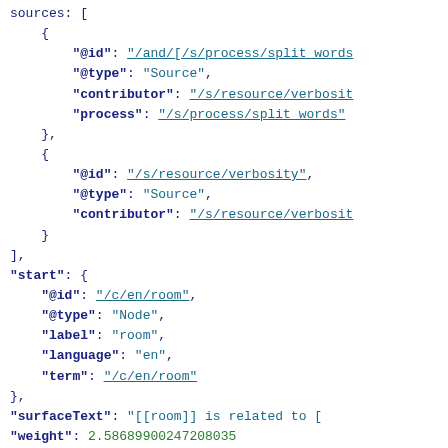JSON code block showing structured data with keys @id, @type, contributor, process, start, surfaceText, weight, and nested objects